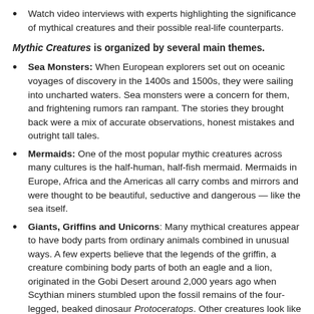Watch video interviews with experts highlighting the significance of mythical creatures and their possible real-life counterparts.
Mythic Creatures is organized by several main themes.
Sea Monsters: When European explorers set out on oceanic voyages of discovery in the 1400s and 1500s, they were sailing into uncharted waters. Sea monsters were a concern for them, and frightening rumors ran rampant. The stories they brought back were a mix of accurate observations, honest mistakes and outright tall tales.
Mermaids: One of the most popular mythic creatures across many cultures is the half-human, half-fish mermaid. Mermaids in Europe, Africa and the Americas all carry combs and mirrors and were thought to be beautiful, seductive and dangerous — like the sea itself.
Giants, Griffins and Unicorns: Many mythical creatures appear to have body parts from ordinary animals combined in unusual ways. A few experts believe that the legends of the griffin, a creature combining body parts of both an eagle and a lion, originated in the Gobi Desert around 2,000 years ago when Scythian miners stumbled upon the fossil remains of the four-legged, beaked dinosaur Protoceratops. Other creatures look like familiar animals but have extraordinary and magical powers, such